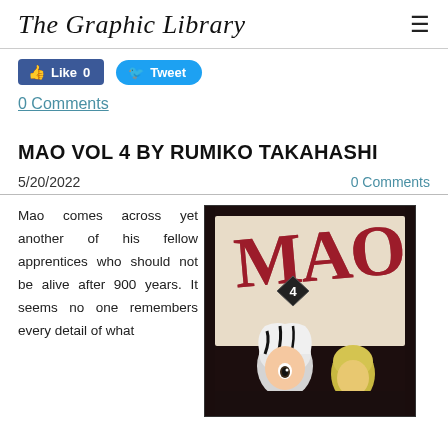The Graphic Library
Like 0   Tweet
0 Comments
MAO VOL 4 BY RUMIKO TAKAHASHI
5/20/2022    0 Comments
Mao comes across yet another of his fellow apprentices who should not be alive after 900 years. It seems no one remembers every detail of what
[Figure (photo): Book cover of MAO Vol 4 by Rumiko Takahashi showing manga-style artwork with the title MAO in large red letters and the number 4 on a diamond shape, with anime characters below on a dark ornate background.]